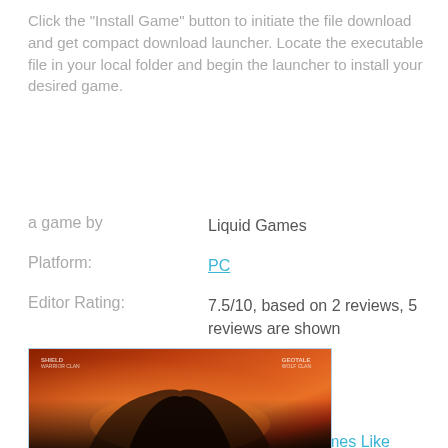Click the "Install Game" button to initiate the file download and get compact download launcher. Locate the executable file in your local folder and begin the launcher to install your desired game.
| Label | Value |
| --- | --- |
| a game by | Liquid Games |
| Platform: | PC |
| Editor Rating: | 7.5/10, based on 2 reviews, 5 reviews are shown |
| User Rating: | 6.0/10 - 6 votes |
| Rate this game: | ★★★★★ |
| See also: | RTS Games, Games Like Northgard |
[Figure (photo): Game cover art showing a dramatic fiery scene with dark silhouettes against an orange and red sky, with shield and logo text overlaid]